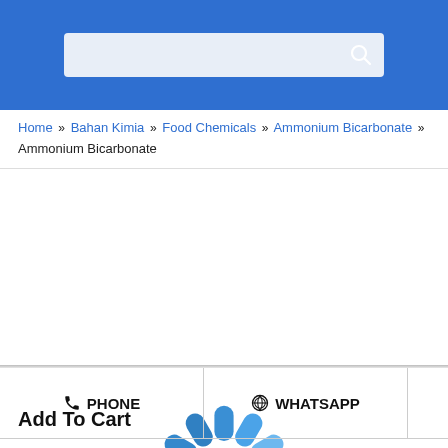[Figure (screenshot): Blue header bar with a search input box containing a search icon on the right]
Home » Bahan Kimia » Food Chemicals » Ammonium Bicarbonate » Ammonium Bicarbonate
[Figure (illustration): A circular spinner/loading animation made of rounded rectangular pill shapes arranged in a clock-like pattern, varying from solid blue at the top to very light blue at the right side, indicating a loading state]
📞 PHONE
© WHATSAPP
Add To Cart